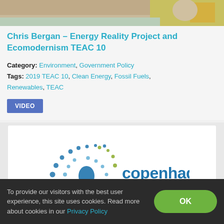[Figure (photo): Partial thumbnail image of a person speaking, cropped at top]
Chris Bergan – Energy Reality Project and Ecomodernism TEAC 10
Category: Environment, Government Policy
Tags: 2019 TEAC 10, Clean Energy, Fossil Fuels, Renewables, TEAC
VIDEO
[Figure (logo): Copenhagen Atomics logo — circular atom icon in blue and green dots with text 'copenhagen atomics' in blue and olive/green]
To provide our visitors with the best user experience, this site uses cookies. Read more about cookies in our Privacy Policy